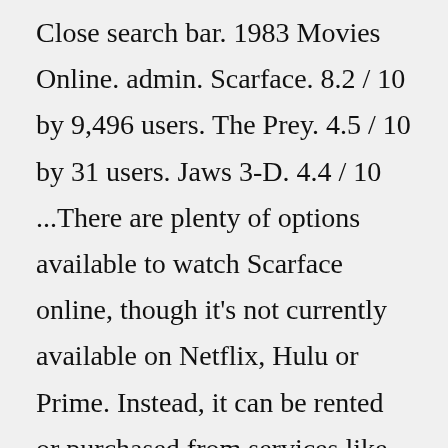Close search bar. 1983 Movies Online. admin. Scarface. 8.2 / 10 by 9,496 users. The Prey. 4.5 / 10 by 31 users. Jaws 3-D. 4.4 / 10 ...There are plenty of options available to watch Scarface online, though it's not currently available on Netflix, Hulu or Prime. Instead, it can be rented or purchased from services like iTunes, Vudu, Google Play, Redbox and YouTube. Rentals prices start from $3.99 while it can be purchased from $14.99. Given the way